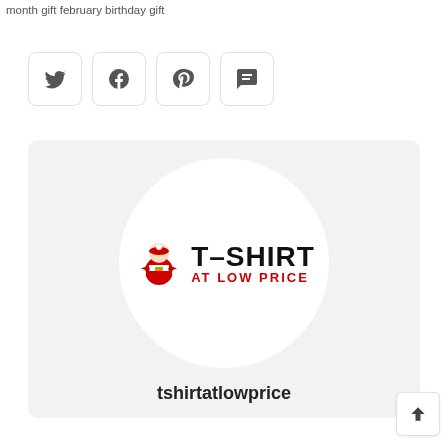month gift february birthday gift
[Figure (other): Social sharing buttons: Twitter, Facebook, Pinterest, and SMS/chat icons in rounded square buttons]
[Figure (logo): T-Shirt At Low Price logo inside a white circle on a light gray card background. Logo shows a Santa Claus figure with text T-SHIRT in bold black and AT LOW PRICE in red below.]
tshirtatlowprice